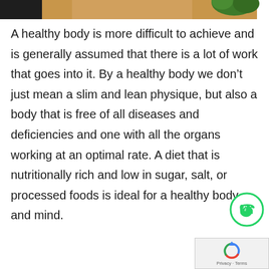[Figure (photo): Partial view of a food image — dark left portion and light wooden board with green garnish on the right, cropped at top of page]
A healthy body is more difficult to achieve and is generally assumed that there is a lot of work that goes into it. By a healthy body we don't just mean a slim and lean physique, but also a body that is free of all diseases and deficiencies and one with all the organs working at an optimal rate. A diet that is nutritionally rich and low in sugar, salt, or processed foods is ideal for a healthy body and mind.
[Figure (logo): WhatsApp icon — green circle with white telephone handset]
[Figure (logo): Google reCAPTCHA logo — blue and red circular arrow icon with Privacy · Terms text below]